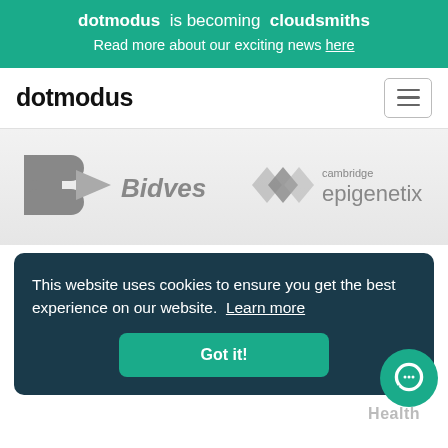dotmodus is becoming cloudsmiths
Read more about our exciting news here
dotmodus
[Figure (logo): Bidvest logo (gray B with arrow) and Cambridge Epigenetix logo (gray diamond shapes)]
This website uses cookies to ensure you get the best experience on our website. Learn more
Got it!
Health